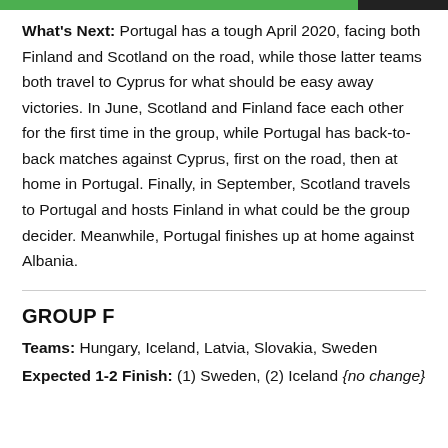What's Next: Portugal has a tough April 2020, facing both Finland and Scotland on the road, while those latter teams both travel to Cyprus for what should be easy away victories. In June, Scotland and Finland face each other for the first time in the group, while Portugal has back-to-back matches against Cyprus, first on the road, then at home in Portugal. Finally, in September, Scotland travels to Portugal and hosts Finland in what could be the group decider. Meanwhile, Portugal finishes up at home against Albania.
GROUP F
Teams: Hungary, Iceland, Latvia, Slovakia, Sweden
Expected 1-2 Finish: (1) Sweden, (2) Iceland {no change}